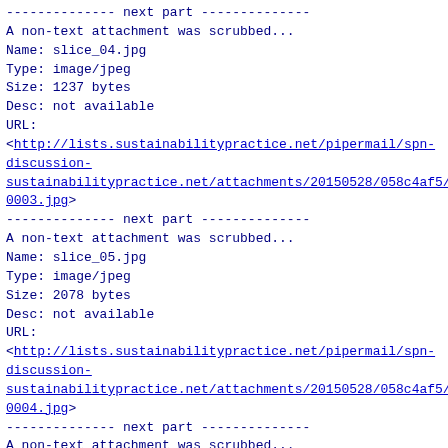-------------- next part --------------
A non-text attachment was scrubbed...
Name: slice_04.jpg
Type: image/jpeg
Size: 1237 bytes
Desc: not available
URL:
<http://lists.sustainabilitypractice.net/pipermail/spn-discussion-sustainabilitypractice.net/attachments/20150528/058c4af5/0003.jpg>
-------------- next part --------------
A non-text attachment was scrubbed...
Name: slice_05.jpg
Type: image/jpeg
Size: 2078 bytes
Desc: not available
URL:
<http://lists.sustainabilitypractice.net/pipermail/spn-discussion-sustainabilitypractice.net/attachments/20150528/058c4af5/0004.jpg>
-------------- next part --------------
A non-text attachment was scrubbed...
Name: slice_06.jpg
Type: image/jpeg
Size: 1257 bytes
Desc: not available
URL:
<http://lists.sustainabilitypractice.net/pipermail/spn-